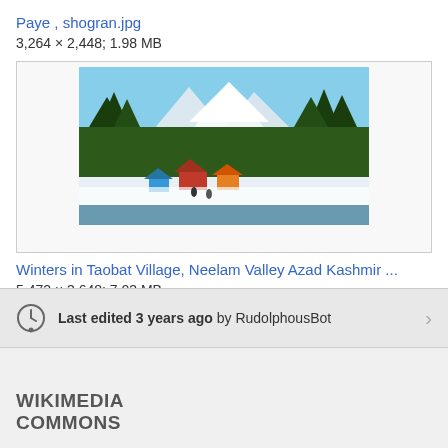Paye , shogran.jpg
3,264 × 2,448; 1.98 MB
[Figure (photo): A winter landscape photo showing Taobat Village in Neelam Valley Azad Kashmir, with snow-covered mountains, green pine trees, and small buildings/huts near a river.]
Winters in Taobat Village, Neelam Valley Azad Kashmir ...
5,472 × 3,648; 7.03 MB
Last edited 3 years ago by RudolphousBot
WIKIMEDIA COMMONS